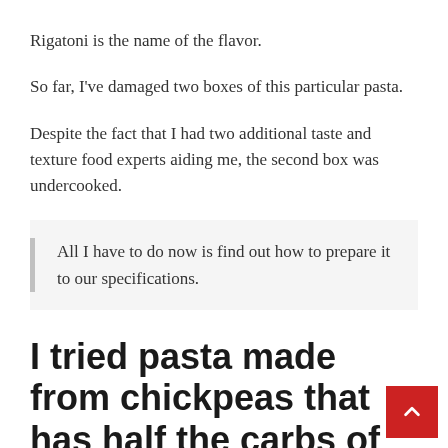Rigatoni is the name of the flavor.
So far, I've damaged two boxes of this particular pasta.
Despite the fact that I had two additional taste and texture food experts aiding me, the second box was undercooked.
All I have to do now is find out how to prepare it to our specifications.
I tried pasta made from chickpeas that has half the carbs of regular